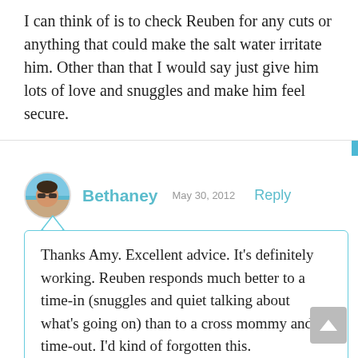I can think of is to check Reuben for any cuts or anything that could make the salt water irritate him. Other than that I would say just give him lots of love and snuggles and make him feel secure.
Bethaney  May 30, 2012  Reply
Thanks Amy. Excellent advice. It's definitely working. Reuben responds much better to a time-in (snuggles and quiet talking about what's going on) than to a cross mommy and a time-out. I'd kind of forgotten this.